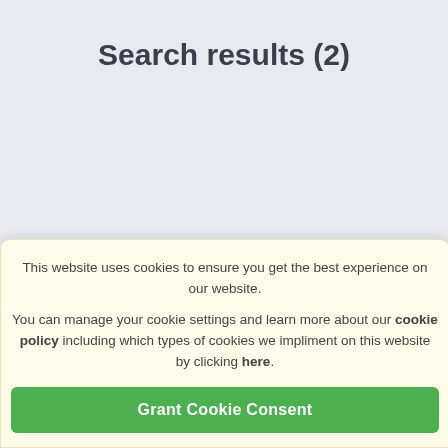Search results (2)
Show filters
Create alert
This website uses cookies to ensure you get the best experience on our website.

You can manage your cookie settings and learn more about our cookie policy including which types of cookies we impliment on this website by clicking here.
Grant Cookie Consent